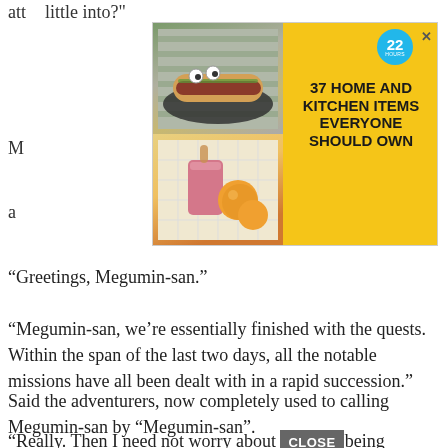att...  ...little into?"
[Figure (screenshot): Advertisement banner with yellow background showing '37 HOME AND KITCHEN ITEMS EVERYONE SHOULD OWN' with food product images and a circular badge with '22']
“Greetings, Megumin-san.”
“Megumin-san, we’re essentially finished with the quests. Within the span of the last two days, all the notable missions have all been dealt with in a rapid succession.”
Said the adventurers, now completely used to calling Megumin-san by “Megumin-san”.
“Really. Then I need not worry about being forced to take difficult quests. Everyone’s been working their butts off, and I’ve been...